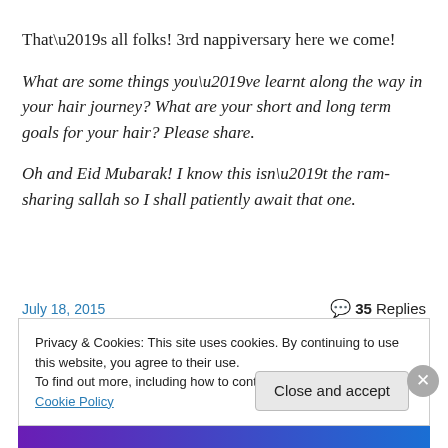That’s all folks! 3rd nappiversary here we come!
What are some things you’ve learnt along the way in your hair journey? What are your short and long term goals for your hair? Please share.
Oh and Eid Mubarak! I know this isn’t the ram-sharing sallah so I shall patiently await that one.
July 18, 2015
35 Replies
Privacy & Cookies: This site uses cookies. By continuing to use this website, you agree to their use.
To find out more, including how to control cookies, see here: Cookie Policy
Close and accept